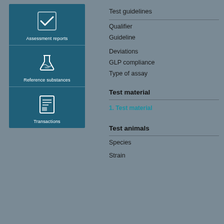[Figure (infographic): Blue card panel with three sections: Assessment reports (checkmark icon), Reference substances (flask icon), Transactions (document icon)]
Test guidelines
Qualifier
Guideline
Deviations
GLP compliance
Type of assay
Test material
1. Test material
Test animals
Species
Strain